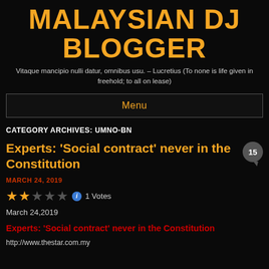MALAYSIAN DJ BLOGGER
Vitaque mancipio nulli datur, omnibus usu. – Lucretius (To none is life given in freehold; to all on lease)
Menu
CATEGORY ARCHIVES: UMNO-BN
Experts: 'Social contract' never in the Constitution
MARCH 24, 2019
1 Votes
March 24,2019
Experts: 'Social contract' never in the Constitution
http://www.thestar.com.my